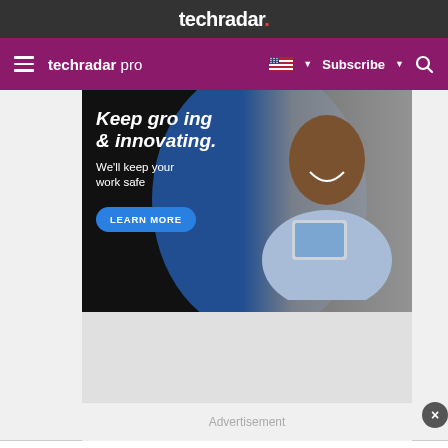techradar.
techradar pro  Subscribe
[Figure (screenshot): Advertisement banner showing 'Keep growing & innovating. We'll keep your work safe. LEARN MORE' with a person holding a tablet on a dark background with blue circle element.]
Advertisement